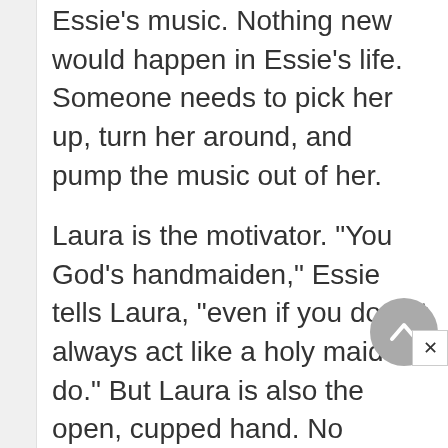Essie's music. Nothing new would happen in Essie's life. Someone needs to pick her up, turn her around, and pump the music out of her.
Laura is the motivator. "You God's handmaiden," Essie tells Laura, "even if you do not always act like a holy maiden do." But Laura is also the open, cupped hand. No matter what she does, she is always asking someone to help her. It is not that she is incapable of taking care of herself, but she is better at prompting others to